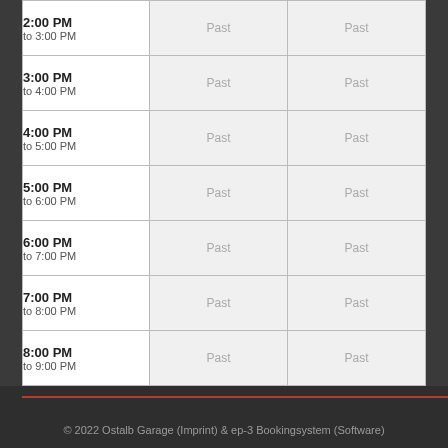| Time | Slot 1 | Slot 2 |
| --- | --- | --- |
| 2:00 PM to 3:00 PM | Past | Past |
| 3:00 PM to 4:00 PM | Past | Past |
| 4:00 PM to 5:00 PM | Past | Past |
| 5:00 PM to 6:00 PM | Past | Past |
| 6:00 PM to 7:00 PM | Past | Past |
| 7:00 PM to 8:00 PM | Past | Past |
| 8:00 PM to 9:00 PM | Past | Past |
| Hebebühne | [1] bis 3,5 t | [2] bis 3,5 t |
|  | Friday January 14, 2022 |  |
© 2022 Ostalb Garage (Imprint) & ep-3 Bookingsystem (Software)